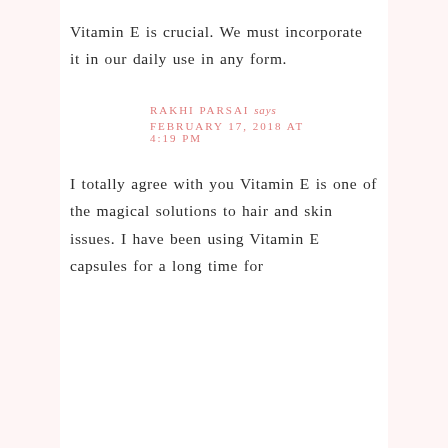Vitamin E is crucial. We must incorporate it in our daily use in any form.
RAKHI PARSAI says
FEBRUARY 17, 2018 AT 4:19 PM
I totally agree with you Vitamin E is one of the magical solutions to hair and skin issues. I have been using Vitamin E capsules for a long time for